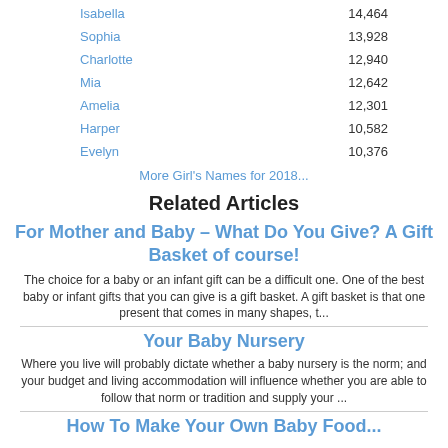| Name | Count |
| --- | --- |
| Isabella | 14,464 |
| Sophia | 13,928 |
| Charlotte | 12,940 |
| Mia | 12,642 |
| Amelia | 12,301 |
| Harper | 10,582 |
| Evelyn | 10,376 |
More Girl's Names for 2018...
Related Articles
For Mother and Baby – What Do You Give? A Gift Basket of course!
The choice for a baby or an infant gift can be a difficult one. One of the best baby or infant gifts that you can give is a gift basket. A gift basket is that one present that comes in many shapes, t...
Your Baby Nursery
Where you live will probably dictate whether a baby nursery is the norm; and your budget and living accommodation will influence whether you are able to follow that norm or tradition and supply your ...
How To Make Your Own Baby Food...